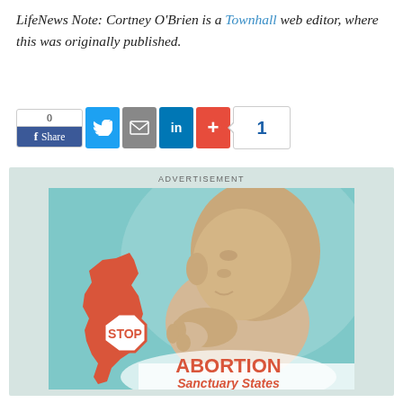LifeNews Note: Cortney O'Brien is a Townhall web editor, where this was originally published.
[Figure (screenshot): Social media sharing buttons: Facebook Share (count 0), Twitter, Email, LinkedIn, Google+ (+), and a share count of 1]
[Figure (photo): Advertisement image showing a fetus with a stop sign over California state outline and text reading STOP ABORTION Sanctuary States]